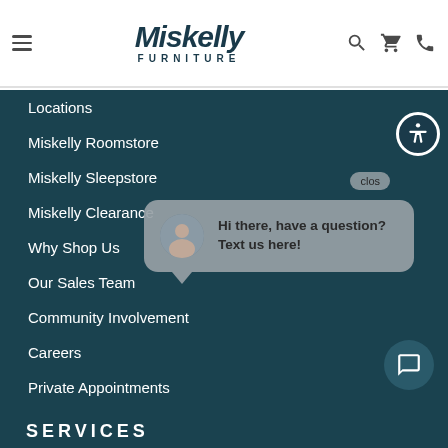Miskelly Furniture — navigation header with hamburger menu, logo, search, cart, and phone icons
Locations
Miskelly Roomstore
Miskelly Sleepstore
Miskelly Clearance
Why Shop Us
Our Sales Team
Community Involvement
Careers
Private Appointments
SERVICES
[Figure (screenshot): Chat popup with avatar and message: Hi there, have a question? Text us here!]